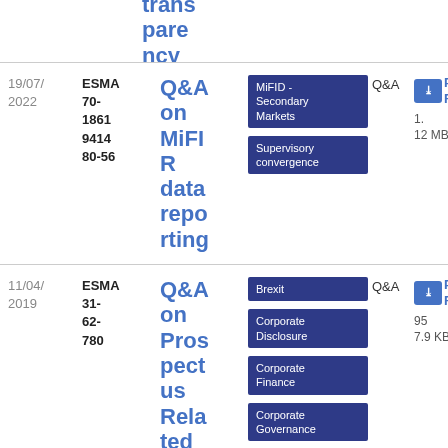transparency topics (partial, top-cut)
| Date | Reference | Title | Tags | Type | Download |
| --- | --- | --- | --- | --- | --- |
| 19/07/2022 | ESMA 70-1861 9414 80-56 | Q&A on MiFIR data reporting | MiFID - Secondary Markets; Supervisory convergence | Q&A | PDF 1.12 MB |
| 11/04/2019 | ESMA 31-62-780 | Q&A on Prospectus Related Topi... | Brexit; Corporate Disclosure; Corporate Finance; Corporate Governance | Q&A | PDF 95 7.9 KB |